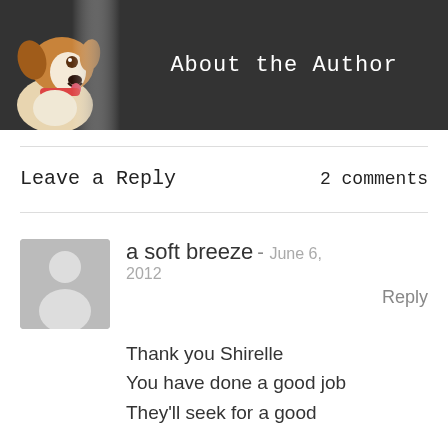[Figure (illustration): A blog header banner with a cartoon dog illustration on the left and dark background with the text 'About the Author']
Leave a Reply   2 comments
a soft breeze - June 6, 2012
Reply
Thank you Shirelle
You have done a good job
They'll seek for a good family therapy.